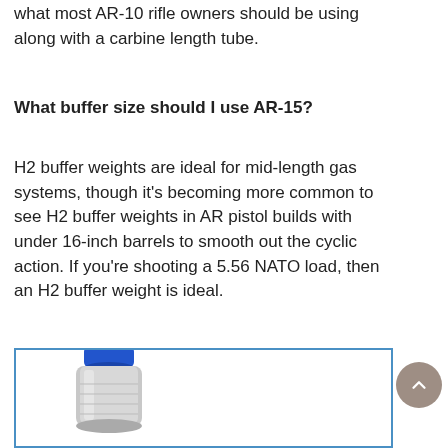what most AR-10 rifle owners should be using along with a carbine length tube.
What buffer size should I use AR-15?
H2 buffer weights are ideal for mid-length gas systems, though it's becoming more common to see H2 buffer weights in AR pistol builds with under 16-inch barrels to smooth out the cyclic action. If you're shooting a 5.56 NATO load, then an H2 buffer weight is ideal.
[Figure (photo): Photo of a firearm buffer component (cylindrical metal part with blue cap) inside a blue-bordered image box]